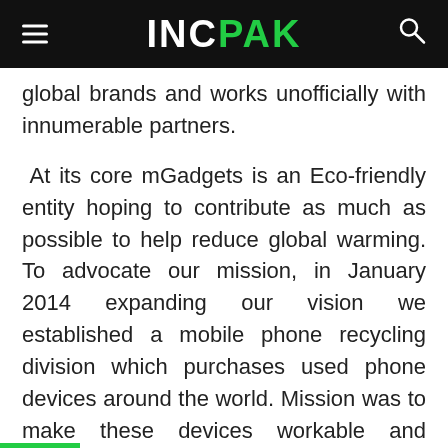INCPAK
global brands and works unofficially with innumerable partners.
At its core mGadgets is an Eco-friendly entity hoping to contribute as much as possible to help reduce global warming. To advocate our mission, in January 2014 expanding our vision we established a mobile phone recycling division which purchases used phone devices around the world. Mission was to make these devices workable and affordable, These mobile sets are properly inspected, graded and after proper scrutiny they are shipped to